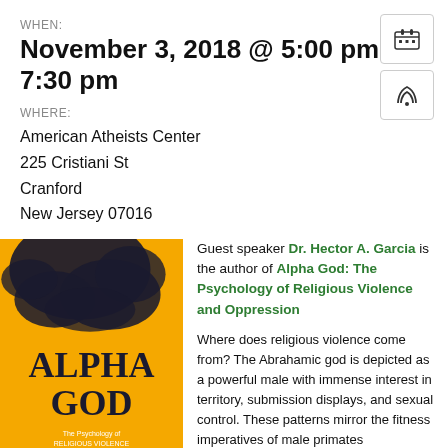WHEN:
November 3, 2018 @ 5:00 pm – 7:30 pm
WHERE:
American Atheists Center
225 Cristiani St
Cranford
New Jersey 07016
[Figure (illustration): Book cover of Alpha God: The Psychology of Religious Violence and Oppression, with yellow/orange background, dark ink blot at top, large bold title text ALPHA GOD in dark navy, and subtitle text below.]
Guest speaker Dr. Hector A. Garcia is the author of Alpha God: The Psychology of Religious Violence and Oppression

Where does religious violence come from? The Abrahamic god is depicted as a powerful male with immense interest in territory, submission displays, and sexual control. These patterns mirror the fitness imperatives of male primates